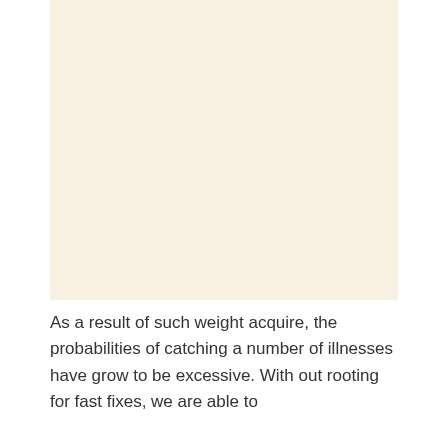[Figure (other): Large blank cream/beige colored rectangular image placeholder area]
As a result of such weight acquire, the probabilities of catching a number of illnesses have grow to be excessive. With out rooting for fast fixes, we are able to